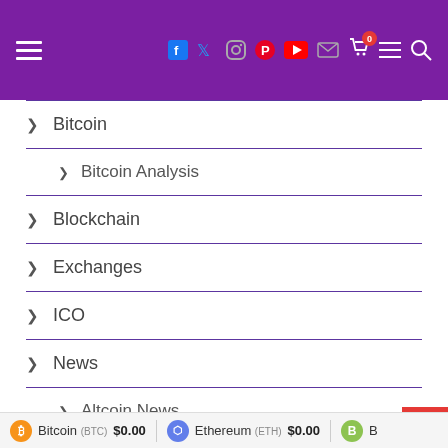Navigation menu header with social icons: Facebook, Twitter, Instagram, Pinterest, YouTube, Mail, Cart (0), Menu, Search
> Bitcoin
> Bitcoin Analysis
> Blockchain
> Exchanges
> ICO
> News
> Altcoin News
> Bitcoin News
Bitcoin (BTC) $0.00  Ethereum (ETH) $0.00  B...